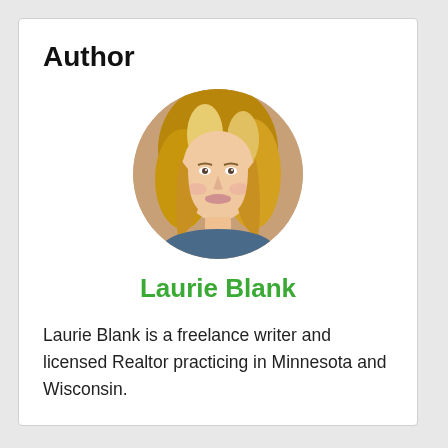Author
[Figure (photo): Circular headshot photo of Laurie Blank, a woman with blonde hair, smiling]
Laurie Blank
Laurie Blank is a freelance writer and licensed Realtor practicing in Minnesota and Wisconsin.
She has been writing about